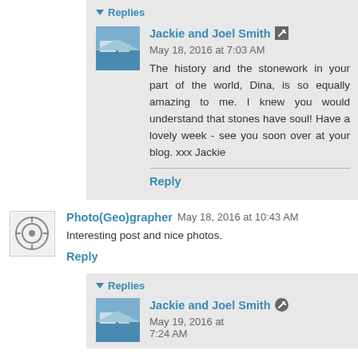Replies
Jackie and Joel Smith  May 18, 2016 at 7:03 AM
The history and the stonework in your part of the world, Dina, is so equally amazing to me. I knew you would understand that stones have soul! Have a lovely week - see you soon over at your blog. xxx Jackie
Reply
Photo(Geo)grapher  May 18, 2016 at 10:43 AM
Interesting post and nice photos.
Reply
Replies
Jackie and Joel Smith  May 19, 2016 at 7:24 AM